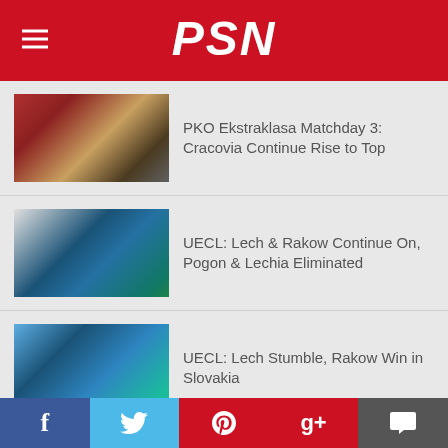PSN
PKO Ekstraklasa Matchday 3: Cracovia Continue Rise to Top
UECL: Lech & Rakow Continue On, Pogon & Lechia Eliminated
UECL: Lech Stumble, Rakow Win in Slovakia
PKO Ekstraklasa Matchday 2: Plock Continue Winning Push